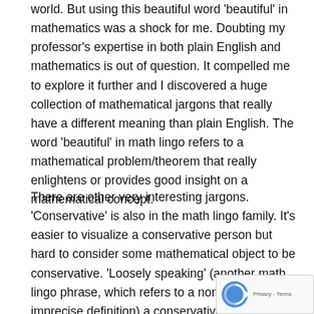world. But using this beautiful word 'beautiful' in mathematics was a shock for me. Doubting my professor's expertise in both plain English and mathematics is out of question. It compelled me to explore it further and I discovered a huge collection of mathematical jargons that really have a different meaning than plain English. The word 'beautiful' in math lingo refers to a mathematical problem/theorem that really enlightens or provides good insight on a mathematical concept.
There are other very interesting jargons. 'Conservative' is also in the math lingo family. It's easier to visualize a conservative person but hard to consider some mathematical object to be conservative. 'Loosely speaking' (another math lingo phrase, which refers to a non-exact, imprecise definition) a conservative object doesn't cover/take into account all potential aspects of the solution. Ironically, is nothing 'liberal' in this lingo. Another professor of mine at